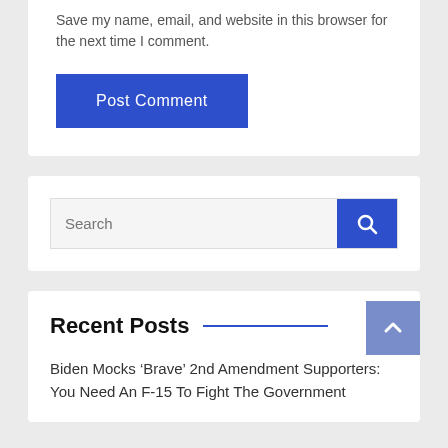Save my name, email, and website in this browser for the next time I comment.
Post Comment
Search
Recent Posts
Biden Mocks ‘Brave’ 2nd Amendment Supporters: You Need An F-15 To Fight The Government